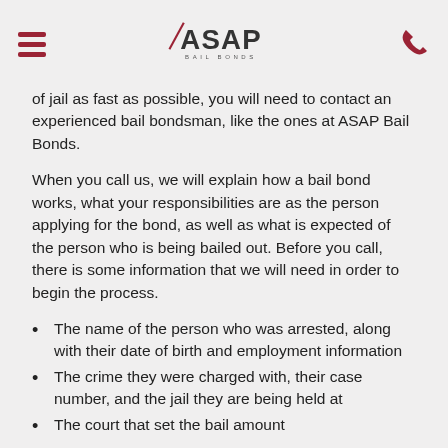ASAP Bail Bonds — navigation header with hamburger menu and phone icon
of jail as fast as possible, you will need to contact an experienced bail bondsman, like the ones at ASAP Bail Bonds.
When you call us, we will explain how a bail bond works, what your responsibilities are as the person applying for the bond, as well as what is expected of the person who is being bailed out. Before you call, there is some information that we will need in order to begin the process.
The name of the person who was arrested, along with their date of birth and employment information
The crime they were charged with, their case number, and the jail they are being held at
The court that set the bail amount
Your name and some financial information
Once you have provided us with the information that we need, we will contact the court, pay the bail, and the accused will be released as quickly as possible. After they're released, feel free to contact us if you have questions about